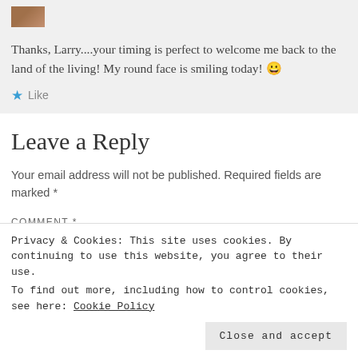[Figure (photo): Small avatar/profile photo thumbnail at top left of comment]
Thanks, Larry....your timing is perfect to welcome me back to the land of the living! My round face is smiling today! 😀
★ Like
Leave a Reply
Your email address will not be published. Required fields are marked *
COMMENT *
Privacy & Cookies: This site uses cookies. By continuing to use this website, you agree to their use.
To find out more, including how to control cookies, see here: Cookie Policy
Close and accept